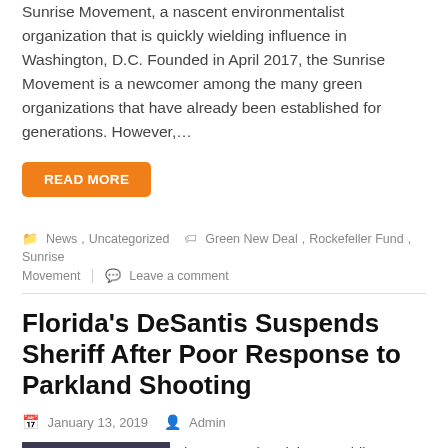Sunrise Movement, a nascent environmentalist organization that is quickly wielding influence in Washington, D.C. Founded in April 2017, the Sunrise Movement is a newcomer among the many green organizations that have already been established for generations. However,…
READ MORE
News, Uncategorized   Green New Deal, Rockefeller Fund, Sunrise Movement   Leave a comment
Florida's DeSantis Suspends Sheriff After Poor Response to Parkland Shooting
January 13, 2019   Admin
[Figure (photo): Photo of two men — one in a suit and one in a sheriff uniform — standing together.]
by Neetu Chandak   Republican Florida Gov. Ron DeSantis officially suspended Broward County Sheriff Scott Israel on Friday after his poor response to the Parkland high school shooting Feb. 14, 2018. Effective immediately, I am officially suspending Broward